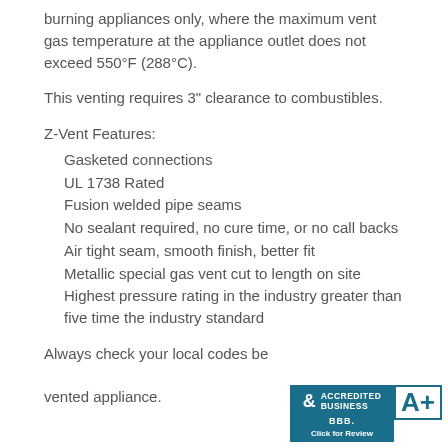burning appliances only, where the maximum vent gas temperature at the appliance outlet does not exceed 550°F (288°C).
This venting requires 3" clearance to combustibles.
Z-Vent Features:
Gasketed connections
UL 1738 Rated
Fusion welded pipe seams
No sealant required, no cure time, or no call backs
Air tight seam, smooth finish, better fit
Metallic special gas vent cut to length on site
Highest pressure rating in the industry greater than five time the industry standard
Always check your local codes before installing any vented appliance.
[Figure (logo): BBB Accredited Business badge with A+ rating and 'Click for Review' text]